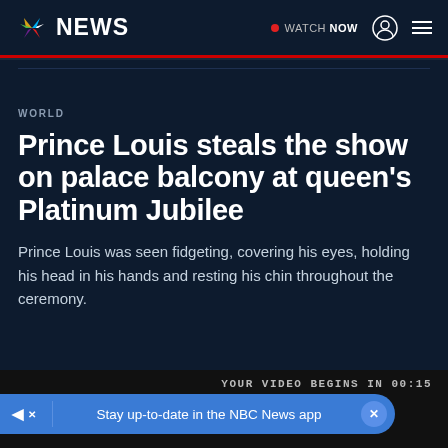NBC NEWS — WATCH NOW
WORLD
Prince Louis steals the show on palace balcony at queen's Platinum Jubilee
Prince Louis was seen fidgeting, covering his eyes, holding his head in his hands and resting his chin throughout the ceremony.
YOUR VIDEO BEGINS IN 00:15
Stay up-to-date in the NBC News app